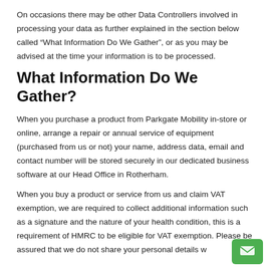On occasions there may be other Data Controllers involved in processing your data as further explained in the section below called “What Information Do We Gather”, or as you may be advised at the time your information is to be processed.
What Information Do We Gather?
When you purchase a product from Parkgate Mobility in-store or online, arrange a repair or annual service of equipment (purchased from us or not) your name, address data, email and contact number will be stored securely in our dedicated business software at our Head Office in Rotherham.
When you buy a product or service from us and claim VAT exemption, we are required to collect additional information such as a signature and the nature of your health condition, this is a requirement of HMRC to be eligible for VAT exemption. Please be assured that we do not share your personal details w